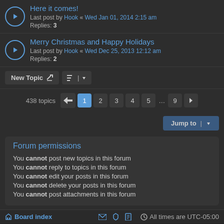Here it comes! — Last post by Hook « Wed Jan 01, 2014 2:15 am — Replies: 3
Merry Christmas and Happy Holidays — Last post by Hook « Wed Dec 25, 2013 12:12 am — Replies: 2
New Topic | sort buttons
438 topics — Pages: 1 2 3 4 5 ... 9 >
Jump to
Forum permissions
You cannot post new topics in this forum
You cannot reply to topics in this forum
You cannot edit your posts in this forum
You cannot delete your posts in this forum
You cannot post attachments in this forum
Board index — All times are UTC-05:00
Powered by phpBB® Forum Software © phpBB Limited — Black Style by Arty